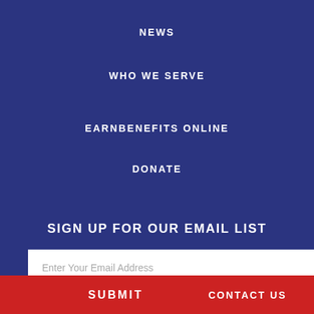NEWS
WHO WE SERVE
EARNBENEFITS ONLINE
DONATE
SIGN UP FOR OUR EMAIL LIST
Enter Your Email Address
SUBMIT
CONTACT US